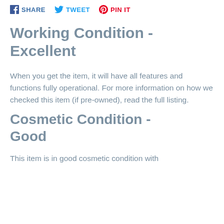SHARE  TWEET  PIN IT
Working Condition - Excellent
When you get the item, it will have all features and functions fully operational. For more information on how we checked this item (if pre-owned), read the full listing.
Cosmetic Condition - Good
This item is in good cosmetic condition with